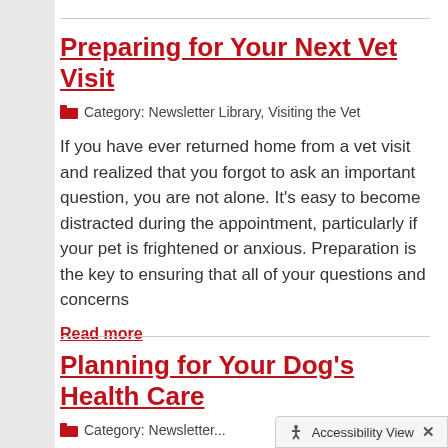Preparing for Your Next Vet Visit
Category: Newsletter Library, Visiting the Vet
If you have ever returned home from a vet visit and realized that you forgot to ask an important question, you are not alone. It's easy to become distracted during the appointment, particularly if your pet is frightened or anxious. Preparation is the key to ensuring that all of your questions and concerns
Read more
Planning for Your Dog's Health Care
Category: Newsletter...